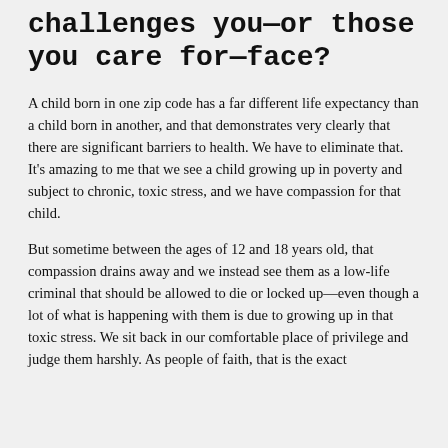challenges you—or those you care for—face?
A child born in one zip code has a far different life expectancy than a child born in another, and that demonstrates very clearly that there are significant barriers to health. We have to eliminate that. It's amazing to me that we see a child growing up in poverty and subject to chronic, toxic stress, and we have compassion for that child.
But sometime between the ages of 12 and 18 years old, that compassion drains away and we instead see them as a low-life criminal that should be allowed to die or locked up—even though a lot of what is happening with them is due to growing up in that toxic stress. We sit back in our comfortable place of privilege and judge them harshly. As people of faith, that is the exact